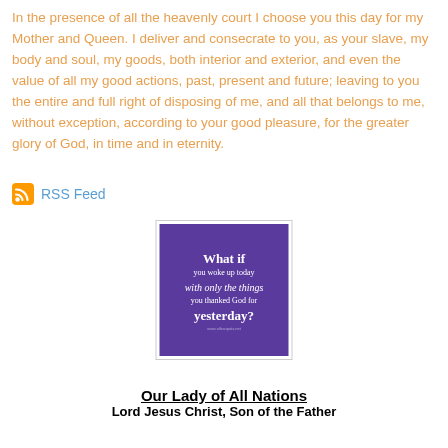In the presence of all the heavenly court I choose you this day for my Mother and Queen. I deliver and consecrate to you, as your slave, my body and soul, my goods, both interior and exterior, and even the value of all my good actions, past, present and future; leaving to you the entire and full right of disposing of me, and all that belongs to me, without exception, according to your good pleasure, for the greater glory of God, in time and in eternity.
RSS Feed
[Figure (illustration): Purple square image with white text reading: 'What if you woke up today with only the things you thanked God for yesterday?']
Our Lady of All Nations
Lord Jesus Christ, Son of the Father